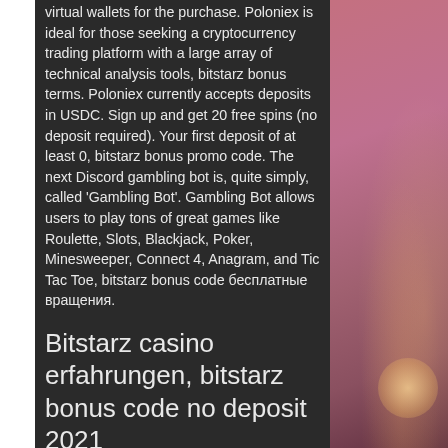virtual wallets for the purchase. Poloniex is ideal for those seeking a cryptocurrency trading platform with a large array of technical analysis tools, bitstarz bonus terms. Poloniex currently accepts deposits in USDC. Sign up and get 20 free spins (no deposit required). Your first deposit of at least 0, bitstarz bonus promo code. The next Discord gambling bot is, quite simply, called 'Gambling Bot'. Gambling Bot allows users to play tons of great games like Roulette, Slots, Blackjack, Poker, Minesweeper, Connect 4, Anagram, and Tic Tac Toe, bitstarz bonus code бесплатные вращения.
Bitstarz casino erfahrungen, bitstarz bonus code no deposit 2021
[Figure (photo): Blurred bokeh background with pinkish-red tones and golden bokeh lights, likely a casino or party setting]